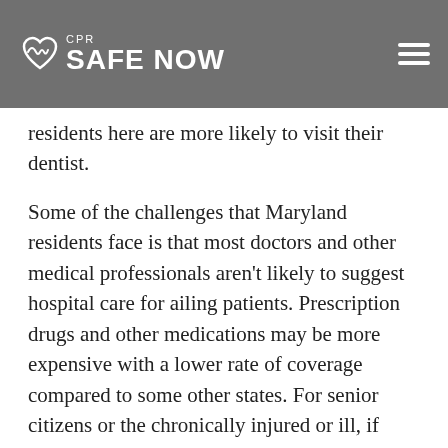Safe Now CPR
residents here are more likely to visit their dentist.
Some of the challenges that Maryland residents face is that most doctors and other medical professionals aren't likely to suggest hospital care for ailing patients. Prescription drugs and other medications may be more expensive with a lower rate of coverage compared to some other states. For senior citizens or the chronically injured or ill, if they need meals delivered to their home, they'll find that this service is not as easy to come by as in some other states. The news isn't all bad